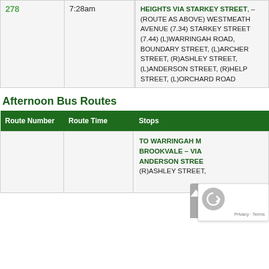| Route Number | Route Time | Stops |
| --- | --- | --- |
| 278 | 7:28am | HEIGHTS VIA STARKEY STREET, – (ROUTE AS ABOVE) WESTMEATH AVENUE (7.34) STARKEY STREET (7.44) (L)WARRINGAH ROAD, BOUNDARY STREET, (L)ARCHER STREET, (R)ASHLEY STREET, (L)ANDERSON STREET, (R)HELP STREET, (L)ORCHARD ROAD |
Afternoon Bus Routes
| Route Number | Route Time | Stops |
| --- | --- | --- |
|  |  | TO WARRINGAH M… BROOKVALE – VIA ANDERSON STREE… (R)ASHLEY STREET, |